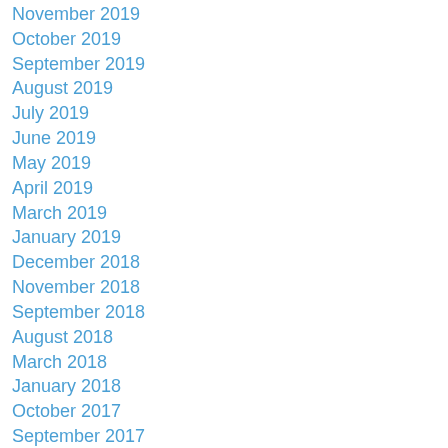November 2019
October 2019
September 2019
August 2019
July 2019
June 2019
May 2019
April 2019
March 2019
January 2019
December 2018
November 2018
September 2018
August 2018
March 2018
January 2018
October 2017
September 2017
July 2017
May 2017
April 2017